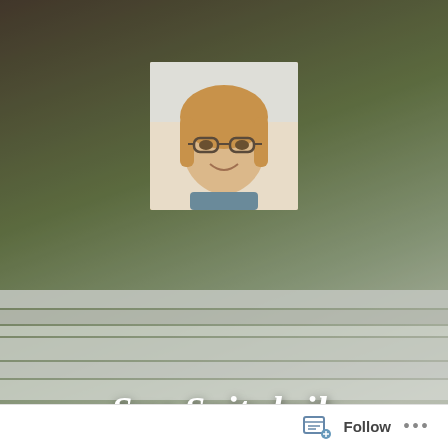[Figure (photo): Website/blog header screenshot for Sue Spitulnik. Background shows stacked books/notebooks in muted olive, grey, and brown tones. A profile photo of a woman with glasses and blonde hair is centered near the top. Below the photo is the name 'Sue Spitulnik' in white cursive/italic text, and a tagline 'Creative lady' in smaller grey italic. A dark purple navigation bar with hamburger menu and search icon spans the width. Below is a light grey section with 'TAG' label and '#Military' heading. A white follow bar at the very bottom has a Follow button and ellipsis.]
Sue Spitulnik
Creative lady
TAG
#Military
Follow